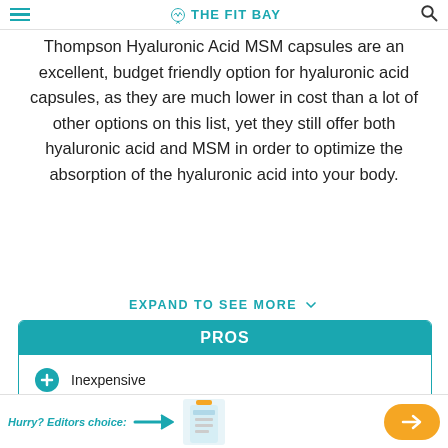THE FIT BAY
Thompson Hyaluronic Acid MSM capsules are an excellent, budget friendly option for hyaluronic acid capsules, as they are much lower in cost than a lot of other options on this list, yet they still offer both hyaluronic acid and MSM in order to optimize the absorption of the hyaluronic acid into your body.
EXPAND TO SEE MORE
PROS
Inexpensive
Suitable for vegetarians and vegans
Hurry? Editors choice: